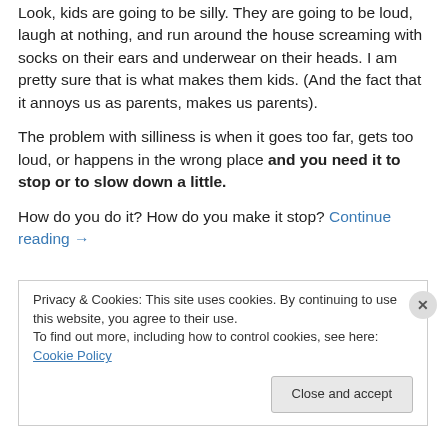Look, kids are going to be silly. They are going to be loud, laugh at nothing, and run around the house screaming with socks on their ears and underwear on their heads. I am pretty sure that is what makes them kids. (And the fact that it annoys us as parents, makes us parents).
The problem with silliness is when it goes too far, gets too loud, or happens in the wrong place and you need it to stop or to slow down a little.
How do you do it? How do you make it stop? Continue reading →
Privacy & Cookies: This site uses cookies. By continuing to use this website, you agree to their use. To find out more, including how to control cookies, see here: Cookie Policy